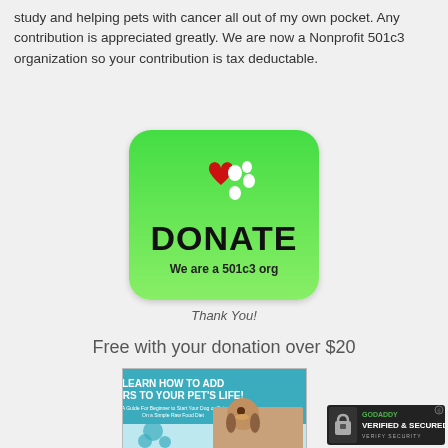study and helping pets with cancer all out of my own pocket. Any contribution is appreciated greatly. We are now a Nonprofit 501c3 organization so your contribution is tax deductable.
[Figure (illustration): Green donate button with rounded corners, featuring a red heart and white paw print dots, large text DONATE, and subtitle We are a 501c3 org]
Thank You!
Free with your donation over $20
[Figure (photo): Book cover: LEARN HOW TO ADD YEARS TO YOUR PET'S LIFE! A Guide For Beginner to Start Your Dog or Cat On a Simple Raw Food Diet With Lifetime Help and Support. Shows a dog photo and teal paw print.]
[Figure (logo): GoDaddy Verified & Secured badge]